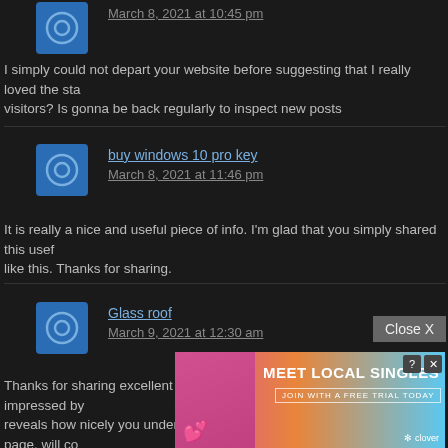March 8, 2021 at 10:45 pm
I simply could not depart your website before suggesting that I really loved the sta... visitors? Is gonna be back regularly to inspect new posts
buy windows 10 pro key
March 8, 2021 at 11:46 pm
It is really a nice and useful piece of info. I'm glad that you simply shared this usef... like this. Thanks for sharing.
Glass roof
March 9, 2021 at 12:30 am
Thanks for sharing excellent informations. Your site is so cool. I am impressed by... reveals how nicely you understand this subject. Bookmarked this web page, will c... ROCK! I found simply the info I already searched all over the place and just couldn...
solar panel malaysia
Real goo... ident. I did...
[Figure (other): Advertisement banner: MEET LOCAL SINGLES with a woman photo, clover logo, close X button]